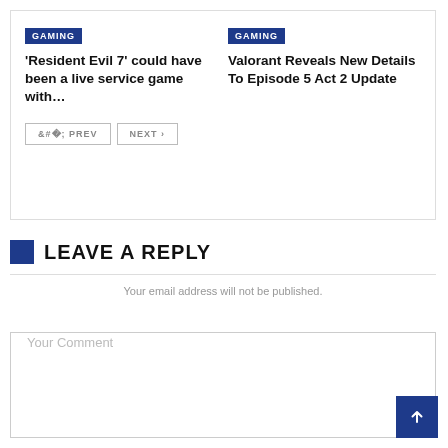GAMING
'Resident Evil 7' could have been a live service game with…
GAMING
Valorant Reveals New Details To Episode 5 Act 2 Update
< PREV
NEXT >
LEAVE A REPLY
Your email address will not be published.
Your Comment